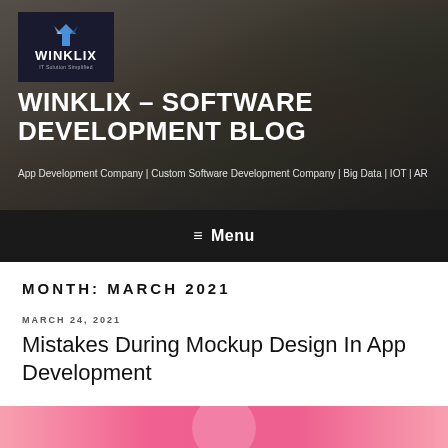[Figure (photo): Hero banner with blurred office desk background featuring a succulent plant and dark overlay, with Winklix logo in top-left corner]
WINKLIX – SOFTWARE DEVELOPMENT BLOG
App Development Company | Custom Software Development Company | Big Data | IOT | AR
≡ Menu
MONTH: MARCH 2021
MARCH 24, 2021
Mistakes During Mockup Design In App Development
[Figure (photo): Pink colored image strip at the bottom of the page, partially visible, part of a blog post thumbnail]